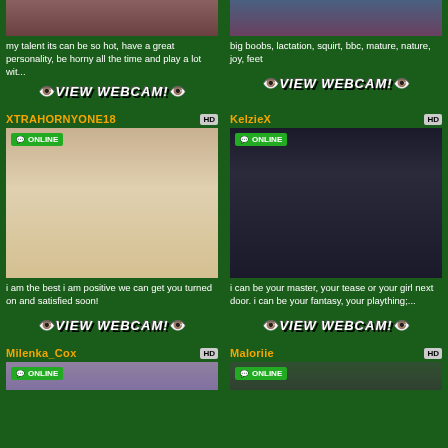my talent its can be so hot, have a great personality, be horny all the time and play a lot wit...
big boobs, lactation, squirt, bbc, mature, nature, joy, feet
[Figure (photo): VIEW WEBCAM button with eye icons]
[Figure (photo): VIEW WEBCAM button with eye icons]
XTRAHORNYONE18
KelzieX
[Figure (photo): Online webcam thumbnail for XTRAHORNYONE18 showing woman in white lace dress]
[Figure (photo): Online webcam thumbnail for KelzieX showing woman with glasses in white top]
i am the best i am positive we can get you turned on and satisfied soon!
i can be your master, your tease or your girl next door. i can be your fantasy, your plaything;...
[Figure (photo): VIEW WEBCAM button with eye icons]
[Figure (photo): VIEW WEBCAM button with eye icons]
Milenka_Cox
Maloriie
[Figure (photo): Online webcam thumbnail for Milenka_Cox]
[Figure (photo): Online webcam thumbnail for Maloriie]